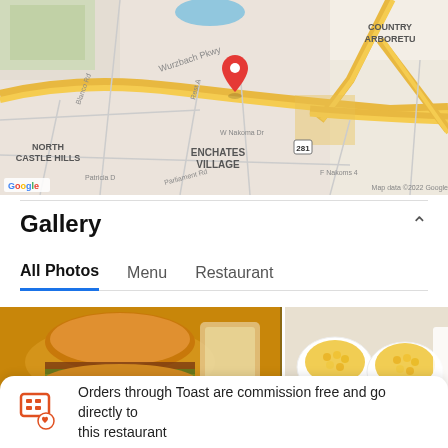[Figure (map): Google Map showing location pin on Wurzbach Pkwy near Enchates Village and North Castle Hills area, San Antonio. Red location pin visible. Labels include NORTH CASTLE HILLS, ENCHATES VILLAGE, COUNTRY ARBORETU, Wurzbach Pkwy. Map data ©2022 Google.]
Gallery
All Photos
Menu
Restaurant
[Figure (photo): Close-up photo of a burger/sandwich on the left side]
[Figure (photo): Photo of mac and cheese or corn in white bowls on the right side]
Orders through Toast are commission free and go directly to this restaurant